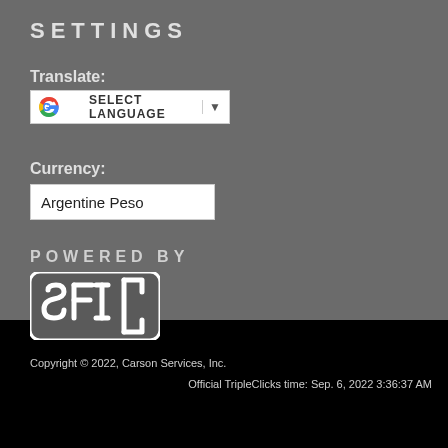SETTINGS
Translate:
[Figure (screenshot): Google Translate widget showing SELECT LANGUAGE dropdown button with Google G logo and dropdown arrow]
Currency:
Argentine Peso
POWERED BY
[Figure (logo): SFI logo — white rounded square with letters SFI in bold on dark background]
Copyright © 2022, Carson Services, Inc.   Official TripleClicks time: Sep. 6, 2022 3:36:37 AM